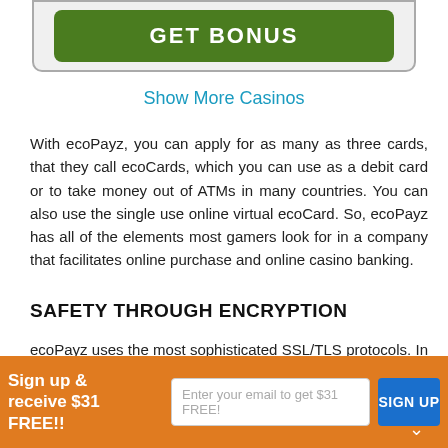[Figure (screenshot): Green GET BONUS button inside a rounded grey container]
Show More Casinos
With ecoPayz, you can apply for as many as three cards, that they call ecoCards, which you can use as a debit card or to take money out of ATMs in many countries. You can also use the single use online virtual ecoCard. So, ecoPayz has all of the elements most gamers look for in a company that facilitates online purchase and online casino banking.
SAFETY THROUGH ENCRYPTION
ecoPayz uses the most sophisticated SSL/TLS protocols. In the modern world, in order to be as safe as possible when you accept or transfer money through the internet, you need 256
Sign up & receive $31 FREE!!
Enter your email to get $31 FREE!
SIGN UP